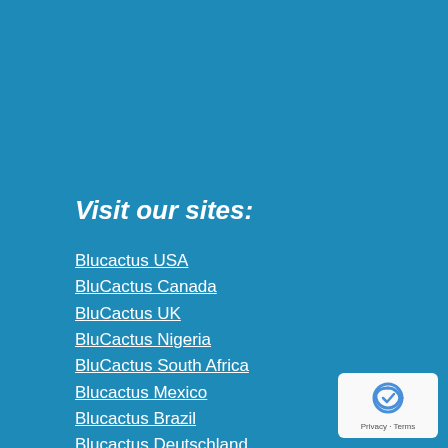Visit our sites:
Blucactus USA
BluCactus Canada
BluCactus UK
BluCactus Nigeria
BluCactus South Africa
Blucactus Mexico
Blucactus Brazil
Blucactus Deutschland
Blucactus Nederland
Blucactus Italia
Blucactus España
Blucactus France
[Figure (logo): reCAPTCHA badge with Privacy and Terms links]